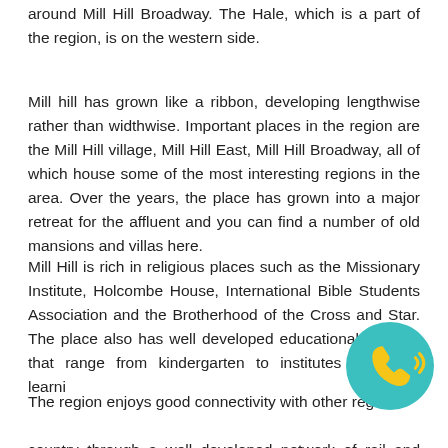around Mill Hill Broadway. The Hale, which is a part of the region, is on the western side.
Mill hill has grown like a ribbon, developing lengthwise rather than widthwise. Important places in the region are the Mill Hill village, Mill Hill East, Mill Hill Broadway, all of which house some of the most interesting regions in the area. Over the years, the place has grown into a major retreat for the affluent and you can find a number of old mansions and villas here.
Mill Hill is rich in religious places such as the Missionary Institute, Holcombe House, International Bible Students Association and the Brotherhood of the Cross and Star. The place also has well developed educational facilities that range from kindergarten to institutes of higher learning.
The region enjoys good connectivity with other regions of the country through a well developed network of rail and road.
[Figure (illustration): Teal circular phone icon with yellow telephone handset and signal waves, positioned in bottom-right corner]